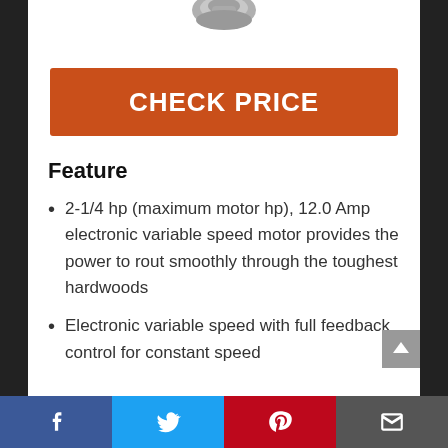[Figure (photo): Partial view of a router tool at the top of the page]
CHECK PRICE
Feature
2-1/4 hp (maximum motor hp), 12.0 Amp electronic variable speed motor provides the power to rout smoothly through the toughest hardwoods
Electronic variable speed with full feedback control for constant speed (text partially cut off)
[Figure (other): Social sharing bar at the bottom with Facebook, Twitter, Pinterest, and email icons]